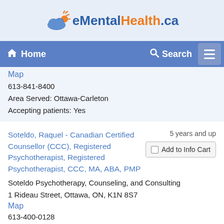[Figure (logo): eMentalHealth.ca logo with cloud and sun icon, blue and orange text]
Home  Search  [menu]
Map
613-841-8400
Area Served: Ottawa-Carleton
Accepting patients: Yes
Soteldo, Raquel - Canadian Certified Counsellor (CCC), Registered Psychotherapist, Registered Psychotherapist, CCC, MA, ABA, PMP
5 years and up
Add to Info Cart
Soteldo Psychotherapy, Counseling, and Consulting
1 Rideau Street, Ottawa, ON, K1N 8S7
Map
613-400-0128
Area Served: Ottawa-Carleton
Accepting patients: Yes